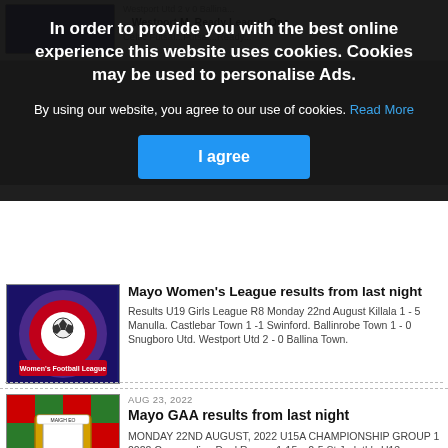[Figure (screenshot): Background: top partial article with Mayo Women's League logo and blurred site content]
In order to provide you with the best online experience this website uses cookies. Cookies may be used to personalise Ads.
By using our website, you agree to our use of cookies. Read More
I agree
[Figure (logo): Mayo Women's Football League circular badge logo]
Mayo Women's League results from last night
Results U19 Girls League R8 Monday 22nd August Killala 1 - 5 Manulla. Castlebar Town 1 -1 Swinford. Ballinrobe Town 1 - 0 Snugboro Utd. Westport Utd 2 - 0 Ballina Town.
AUG 23, 2022
[Figure (photo): Mayo GAA flag — red and green checkered flag with county crest]
Mayo GAA results from last night
MONDAY 22ND AUGUST, 2022 U15A CHAMPIONSHIP GROUP 1 2022 Crossmolina Deel Rovers 1-15 v 2-5 St.Jarlath's U13 CHAMPIONSHIP 2022 - GROUP 5 Achill 8-10 v 4-6